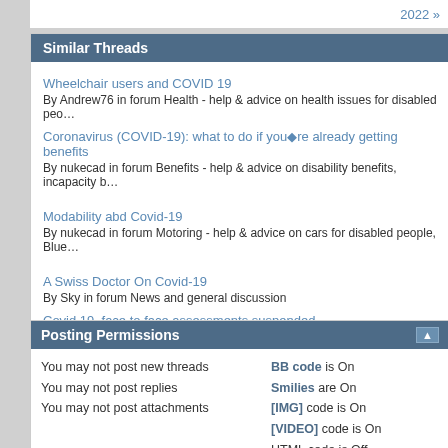2022 »
Similar Threads
Wheelchair users and COVID 19
By Andrew76 in forum Health - help & advice on health issues for disabled peo…
Coronavirus (COVID-19): what to do if you're already getting benefits
By nukecad in forum Benefits - help & advice on disability benefits, incapacity b…
Modability abd Covid-19
By nukecad in forum Motoring - help & advice on cars for disabled people, Blue…
A Swiss Doctor On Covid-19
By Sky in forum News and general discussion
Covid 19, face to face assessments suspended
By noisynoodle in forum Benefits - help & advice on disability benefits, incapac…
Posting Permissions
|  |  |
| --- | --- |
| You may not post new threads | BB code is On |
| You may not post replies | Smilies are On |
| You may not post attachments | [IMG] code is On |
|  | [VIDEO] code is On |
|  | HTML code is Off |